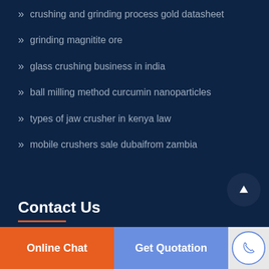crushing and grinding process gold datasheet
grinding magnitite ore
glass crushing business in india
ball milling method curcumin nanoparticles
types of jaw crusher in kenya law
mobile crushers sale dubaifrom zambia
Contact Us
Office Add: Kexue Revenue, High and New Technology Industrial
Online Chat
Get Quotation